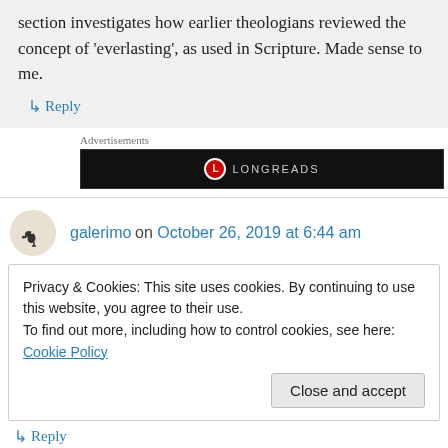section investigates how earlier theologians reviewed the concept of 'everlasting', as used in Scripture. Made sense to me.
↳ Reply
Advertisements
[Figure (logo): Longreads advertisement banner, black background with red circle L logo and LONGREADS text]
galerimo on October 26, 2019 at 6:44 am
Privacy & Cookies: This site uses cookies. By continuing to use this website, you agree to their use.
To find out more, including how to control cookies, see here: Cookie Policy
Close and accept
↳ Reply